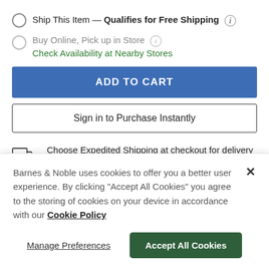Ship This Item — Qualifies for Free Shipping (i)
Buy Online, Pick up in Store (i)
Check Availability at Nearby Stores
ADD TO CART
Sign in to Purchase Instantly
Choose Expedited Shipping at checkout for delivery by Thursday, August 25
Barnes & Noble uses cookies to offer you a better user experience. By clicking "Accept All Cookies" you agree to the storing of cookies on your device in accordance with our Cookie Policy
Manage Preferences
Accept All Cookies